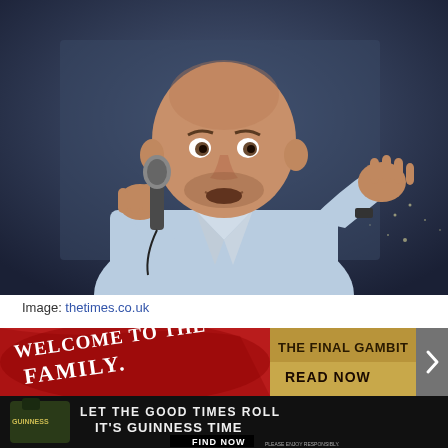[Figure (photo): A bald man in a light blue button-up shirt holding a microphone in one hand and gesturing with the other, performing stand-up comedy against a dark blue background with city lights visible.]
Image: thetimes.co.uk
[Figure (photo): Advertisement banner: red background with decorative design reading 'WELCOME TO THE FAMILY.' on the left, and gold/tan panel on right reading 'THE FINAL GAMBIT READ NOW']
[Figure (photo): Advertisement banner: dark background with Guinness beer bottle image on left, text reading 'LET THE GOOD TIMES ROLL IT'S GUINNESS TIME' and a black button labeled 'FIND NOW'. Small print at bottom right reads 'PLEASE ENJOY RESPONSIBLY. GUINNESS EXTRA STOUT, IMPORTED BY DIAGEO BEER COMPANY USA, NEW YORK, NY']